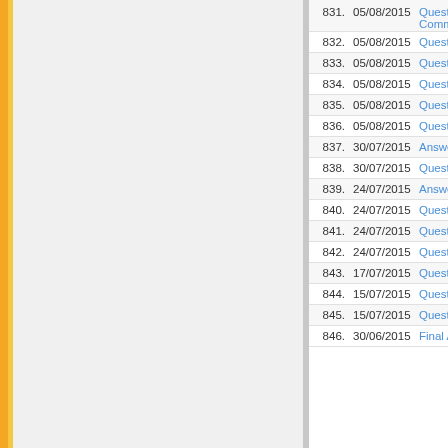| # | Date | Title |
| --- | --- | --- |
| 831. | 05/08/2015 | Question Bo... Commerce-2... |
| 832. | 05/08/2015 | Question Bo... |
| 833. | 05/08/2015 | Question Bo... |
| 834. | 05/08/2015 | Question Bo... |
| 835. | 05/08/2015 | Question Bo... |
| 836. | 05/08/2015 | Question Bo... |
| 837. | 30/07/2015 | Answer keys... |
| 838. | 30/07/2015 | Question Bo... |
| 839. | 24/07/2015 | Answer keys... |
| 840. | 24/07/2015 | Question Bo... |
| 841. | 24/07/2015 | Question Bo... |
| 842. | 24/07/2015 | Question Bo... |
| 843. | 17/07/2015 | Questions Bo... |
| 844. | 15/07/2015 | Questions Bo... |
| 845. | 15/07/2015 | Questions Bo... |
| 846. | 30/06/2015 | Final Answe... |